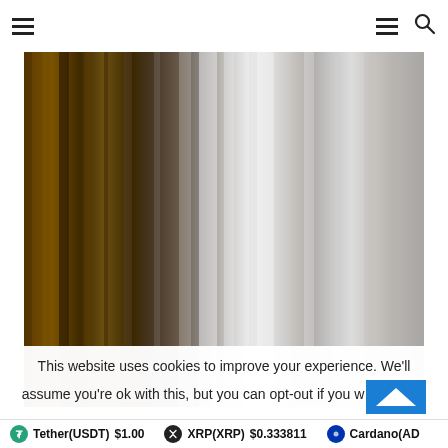Navigation header with hamburger menu and search icon
[Figure (photo): Abstract blurred vertical streaks image transitioning from dark brown/amber on the left to silver/white in the center and right, resembling a metallic or photographic blur effect.]
This website uses cookies to improve your experience. We'll assume you're ok with this, but you can opt-out if you w
Tether(USDT) $1.00  XRP(XRP) $0.333811  Cardano(AD